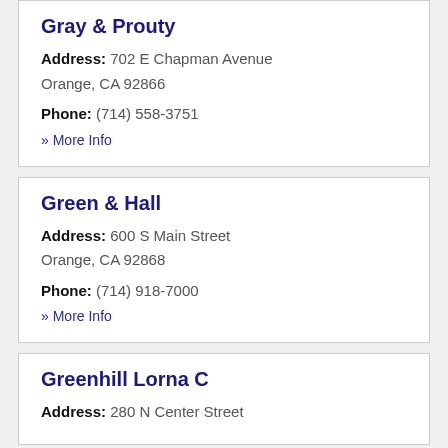Gray & Prouty
Address: 702 E Chapman Avenue Orange, CA 92866
Phone: (714) 558-3751
» More Info
Green & Hall
Address: 600 S Main Street Orange, CA 92868
Phone: (714) 918-7000
» More Info
Greenhill Lorna C
Address: 280 N Center Street